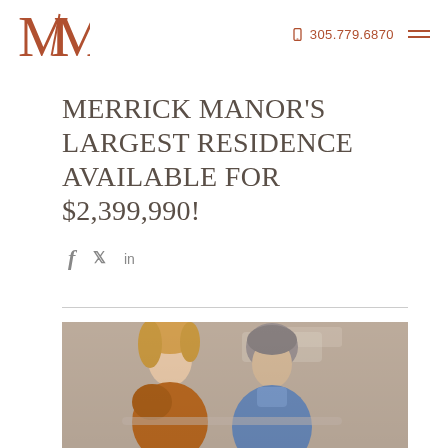MM logo | 305.779.6870
MERRICK MANOR'S LARGEST RESIDENCE AVAILABLE FOR $2,399,990!
[Figure (other): Social media share icons: Facebook (f), Twitter (bird), LinkedIn (in)]
[Figure (photo): A middle-aged couple, a blonde woman and a man in a blue shirt, looking down at something together, likely in a kitchen or living area]